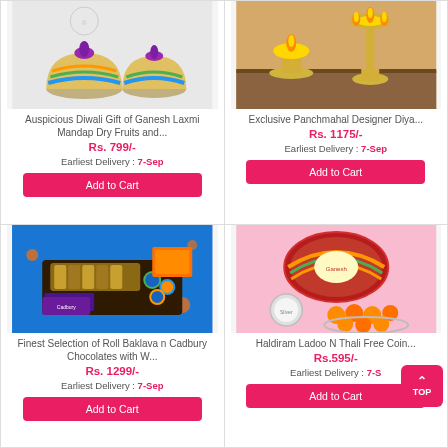[Figure (photo): Auspicious Diwali Gift decorative candle holders with purple candles and colorful mosaic design]
Auspicious Diwali Gift of Ganesh Laxmi Mandap Dry Fruits and...
Rs. 799/-
Earliest Delivery : 7-Sep
Add to Cart
[Figure (photo): Exclusive Panchmahal Designer Diya - brass oil lamps on wooden surface]
Exclusive Panchmahal Designer Diya...
Rs. 1175/-
Earliest Delivery : 7-Sep
Add to Cart
[Figure (photo): Finest Selection of Roll Baklava n Cadbury Chocolates with diyas on blue fabric]
Finest Selection of Roll Baklava n Cadbury Chocolates with W...
Rs. 1299/-
Earliest Delivery : 7-Sep
Add to Cart
[Figure (photo): Haldiram Ladoo N Thali Free Coin - decorative thali with orange ladoos and silver coin on pink background]
Haldiram Ladoo N Thali Free Coin...
Rs.595/-
Earliest Delivery : 7-Sep
Add to Cart